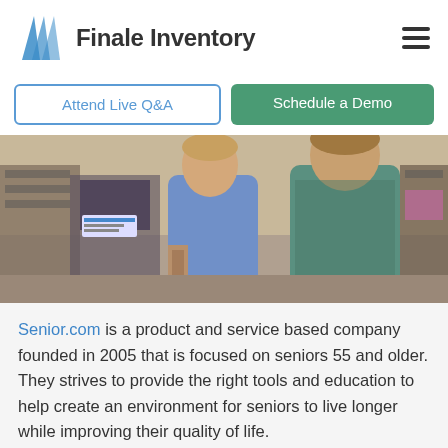Finale Inventory
[Figure (photo): Two men standing in a store with mobility/power equipment in the background]
Senior.com is a product and service based company founded in 2005 that is focused on seniors 55 and older.  They strives to provide the right tools and education to help create an environment for seniors to live longer while improving their quality of life.
Shifting to a Company...in 2016: Senior...